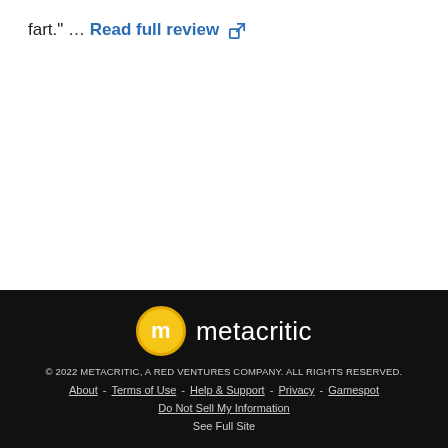fart." ... Read full review
© 2022 METACRITIC, A RED VENTURES COMPANY. ALL RIGHTS RESERVED. About - Terms of Use - Help & Support - Privacy - Gamespot Do Not Sell My Information See Full Site